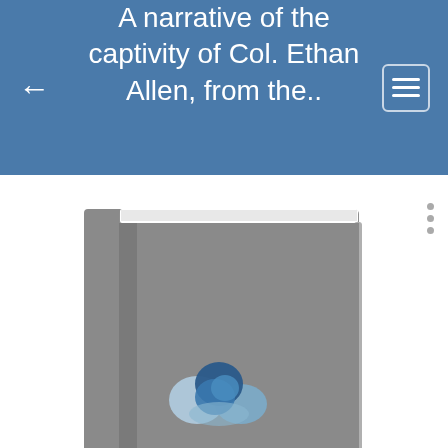A narrative of the captivity of Col. Ethan Allen, from the..
[Figure (illustration): Generic book cover illustration with gray cover and a cloud-swirl logo near the bottom center, shown in a 3D perspective with visible spine and white pages at top]